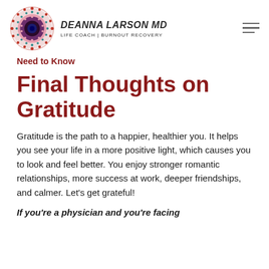[Figure (logo): Circular mandala-style logo with colorful dotted pattern in red, pink, teal and purple]
DEANNA LARSON MD
LIFE COACH | BURNOUT RECOVERY
Need to Know
Final Thoughts on Gratitude
Gratitude is the path to a happier, healthier you. It helps you see your life in a more positive light, which causes you to look and feel better. You enjoy stronger romantic relationships, more success at work, deeper friendships, and calmer. Let's get grateful!
If you're a physician and you're facing